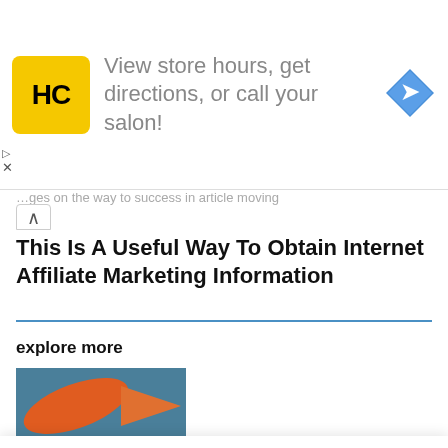[Figure (advertisement): Ad banner with HC logo (yellow square with black HC text), text 'View store hours, get directions, or call your salon!' in gray, and a blue diamond navigation icon on the right.]
…ges on the way to success in article moving
This Is A Useful Way To Obtain Internet Affiliate Marketing Information
explore more
[Figure (illustration): Thumbnail image with teal/dark blue background and orange rocket/arrow graphic, partially visible.]
We use cookies on our website to give you the most relevant experience by remembering your preferences and repeat visits. By clicking "Accept All", you consent to the use of ALL the cookies. However, you may visit "Cookie Settings" to provide a controlled consent.